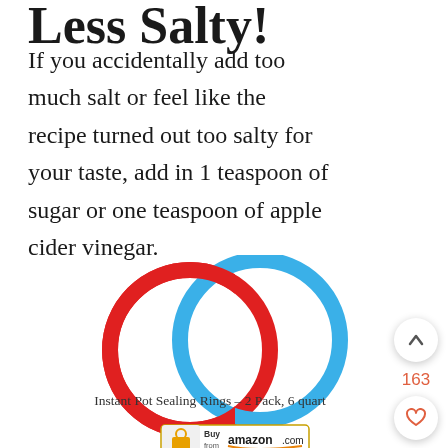Less Salty!
If you accidentally add too much salt or feel like the recipe turned out too salty for your taste, add in 1 teaspoon of sugar or one teaspoon of apple cider vinegar.
[Figure (photo): Two overlapping Instant Pot sealing rings, one red and one blue, overlapping each other like a Venn diagram]
Instant Pot Sealing Rings – 2 Pack, 6 quart
[Figure (logo): Buy from amazon.com button/badge]